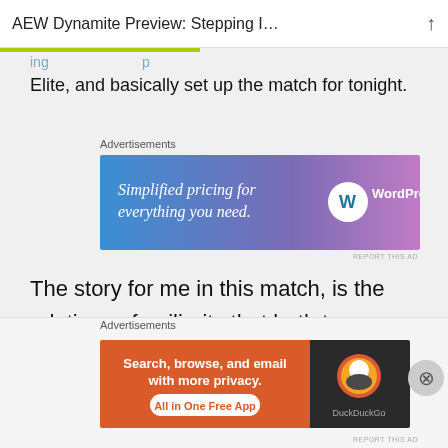AEW Dynamite Preview: Stepping I…
Elite, and basically set up the match for tonight.
Advertisements
[Figure (screenshot): WordPress.com advertisement banner: 'Simplified pricing for everything you need.' with WordPress.com logo on gradient blue-purple background]
REPORT THIS AD
The story for me in this match, is the relative unfamiliarity that both teams have with their partners. Now Matt Jackson is no stranger to teaming with the Good Brothers, going back to their time in New Japan Pro Wrestling, and now
Advertisements
[Figure (screenshot): DuckDuckGo advertisement banner: 'Search, browse, and email with more privacy. All in One Free App' with DuckDuckGo logo on orange background]
REPORT THIS AD